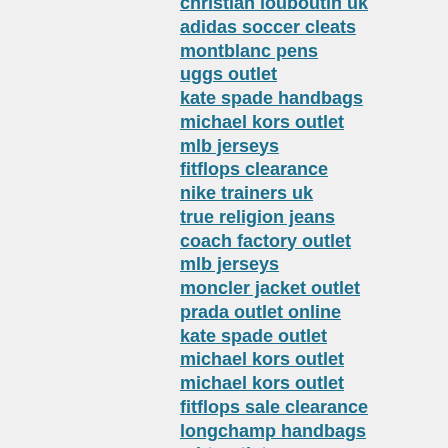christian louboutin uk
adidas soccer cleats
montblanc pens
uggs outlet
kate spade handbags
michael kors outlet
mlb jerseys
fitflops clearance
nike trainers uk
true religion jeans
coach factory outlet
mlb jerseys
moncler jacket outlet
prada outlet online
kate spade outlet
michael kors outlet
michael kors outlet
fitflops sale clearance
longchamp handbags
mbt outlet
ugg factory outlet
louis vuitton handbags
cheap oakley sunglasses
cheap ugg boots
cheap jerseys
oakley vault
michael kors handbags